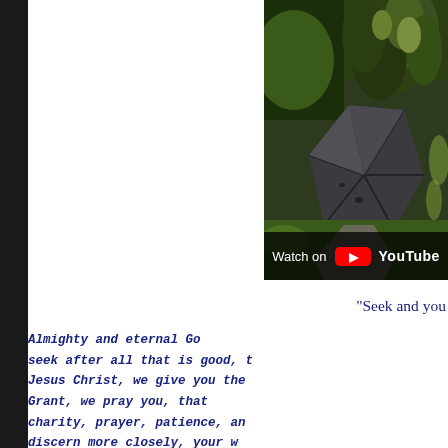[Figure (photo): Aerial drone view of a building roof with trees and green lawn, partially cropped. YouTube 'Watch on YouTube' overlay bar at bottom.]
"Seek and you
Almighty and eternal Go... seek after all that is good, t... Jesus Christ, we give you the...
Grant, we pray you, that... charity, prayer, patience, an... discern more closely, your w...